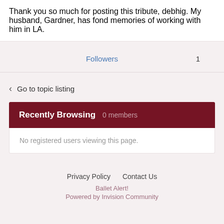Thank you so much for posting this tribute, debhig. My husband, Gardner, has fond memories of working with him in LA.
Followers  1
< Go to topic listing
Recently Browsing  0 members
No registered users viewing this page.
Privacy Policy   Contact Us
Ballet Alert!
Powered by Invision Community